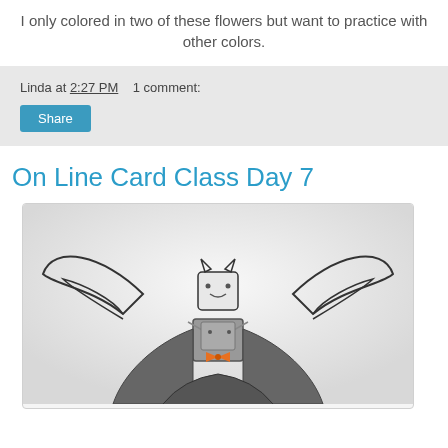I only colored in two of these flowers but want to practice with other colors.
Linda at 2:27 PM   1 comment:
Share
On Line Card Class Day 7
[Figure (photo): A handmade card illustration showing a cartoon bat character with square body and wings spread, wearing a cape, with an orange bow tie detail. The image appears to be a crafting/card-making project photo.]